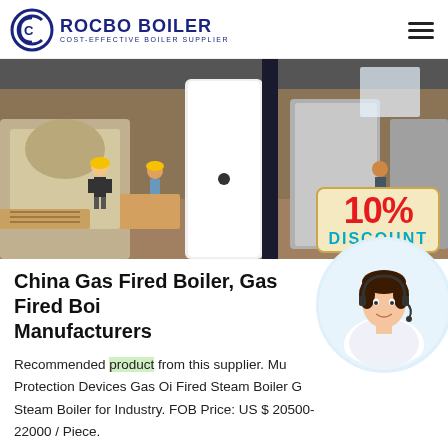[Figure (logo): Rocbo Boiler logo with circular C icon and text 'ROCBO BOILER / COST-EFFECTIVE BOILER SUPPLIER' in navy blue]
[Figure (photo): Industrial boiler manufacturing facility photo showing workers in hard hats, large white and black boiler units, wooden crates. A yellow discount badge overlay reads '10% DISCOUNT' in red and cyan text.]
China Gas Fired Boiler, Gas Fired Boiler Manufacturers
Recommended product from this supplier. Mul... Protection Devices Gas Oi Fired Steam Boiler G... Steam Boiler for Industry. FOB Price: US $ 20500-22000 / Piece.